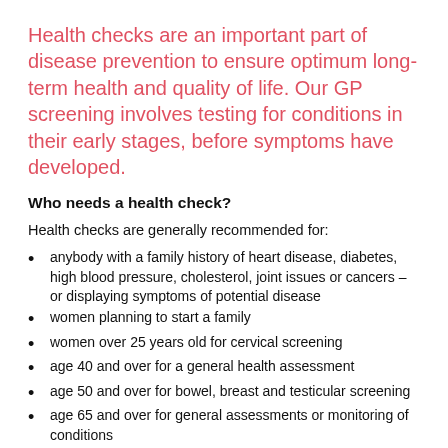Health checks are an important part of disease prevention to ensure optimum long-term health and quality of life. Our GP screening involves testing for conditions in their early stages, before symptoms have developed.
Who needs a health check?
Health checks are generally recommended for:
anybody with a family history of heart disease, diabetes, high blood pressure, cholesterol, joint issues or cancers – or displaying symptoms of potential disease
women planning to start a family
women over 25 years old for cervical screening
age 40 and over for a general health assessment
age 50 and over for bowel, breast and testicular screening
age 65 and over for general assessments or monitoring of conditions